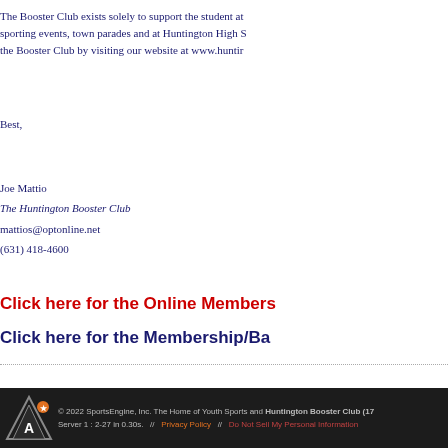The Booster Club exists solely to support the student athletes at all sporting events, town parades and at Huntington High S... the Booster Club by visiting our website at www.hunti...
Best,
Joe Mattio
The Huntington Booster Club
mattios@optonline.net
(631) 418-4600
Click here for the Online Members...
Click here for the Membership/Ba...
© 2022 SportsEngine, Inc. The Home of Youth Sports and Huntington Booster Club (17... Server 1 : 2-27 in 0.30s.   //   Privacy Policy   //   Do Not Sell My Personal Information